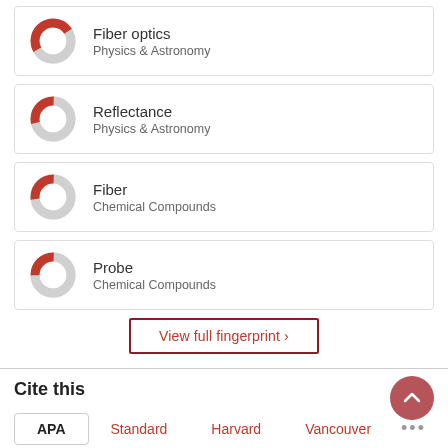[Figure (donut-chart): Donut chart icon for Fiber optics, Physics & Astronomy — red/grey partial ring]
Fiber optics
Physics & Astronomy
[Figure (donut-chart): Donut chart icon for Reflectance, Physics & Astronomy — red/grey partial ring]
Reflectance
Physics & Astronomy
[Figure (donut-chart): Donut chart icon for Fiber, Chemical Compounds — red/grey partial ring]
Fiber
Chemical Compounds
[Figure (donut-chart): Donut chart icon for Probe, Chemical Compounds — red/grey partial ring]
Probe
Chemical Compounds
View full fingerprint ›
Cite this
APA   Standard   Harvard   Vancouver   ...